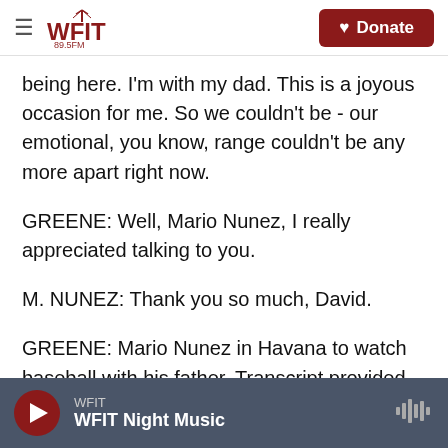WFIT 89.5FM | Donate
being here. I'm with my dad. This is a joyous occasion for me. So we couldn't be - our emotional, you know, range couldn't be any more apart right now.
GREENE: Well, Mario Nunez, I really appreciated talking to you.
M. NUNEZ: Thank you so much, David.
GREENE: Mario Nunez in Havana to watch baseball with his father. Transcript provided by NPR, Copyright NPR.
WFIT | WFIT Night Music